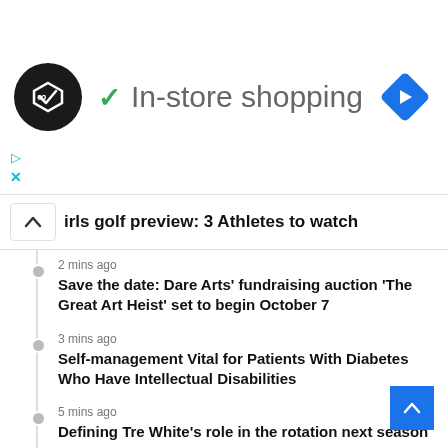[Figure (screenshot): Ad banner with circular logo, green checkmark, 'In-store shopping' text, and blue diamond navigation icon]
irls golf preview: 3 Athletes to watch
2 mins ago — Save the date: Dare Arts’ fundraising auction ‘The Great Art Heist’ set to begin October 7
3 mins ago — Self-management Vital for Patients With Diabetes Who Have Intellectual Disabilities
5 mins ago — Defining Tre White’s role in the rotation next season
10 mins ago — Women’s Soccer Set for Home Opener on Thursday vs. Saint Francis U.; Hosts James Madison Sunday